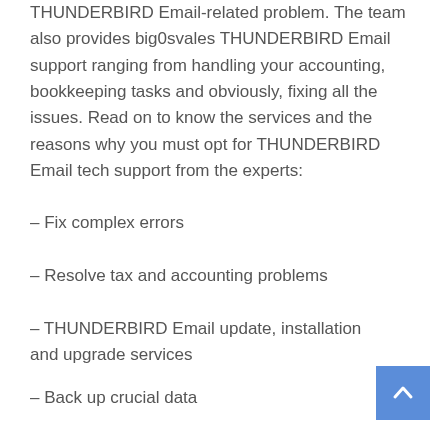THUNDERBIRD Email-related problem. The team also provides big0svales THUNDERBIRD Email support ranging from handling your accounting, bookkeeping tasks and obviously, fixing all the issues. Read on to know the services and the reasons why you must opt for THUNDERBIRD Email tech support from the experts:
– Fix complex errors
– Resolve tax and accounting problems
– THUNDERBIRD Email update, installation and upgrade services
– Back up crucial data
– Restore lost data
– Review and clean up data file